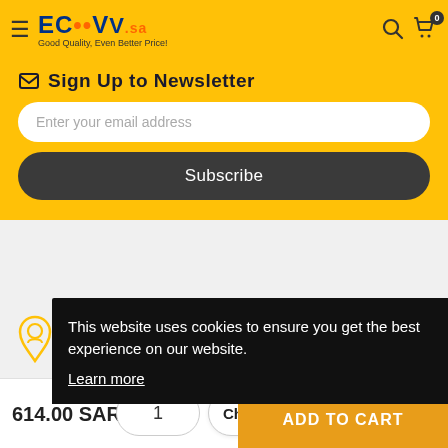ECVV.sa — Good Quality, Even Better Price!
Sign Up to Newsletter
Enter your email address
Subscribe
This website uses cookies to ensure you get the best experience on our website.
Learn more
614.00 SAR
ADD TO CART
Chat with us
1